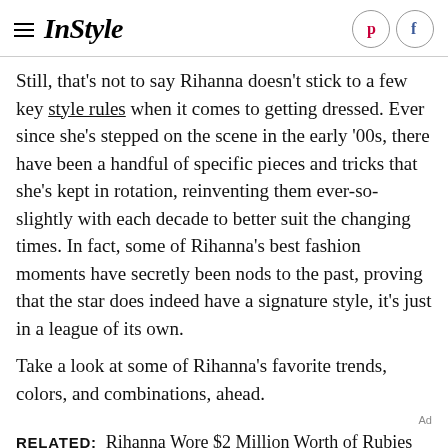InStyle
Still, that's not to say Rihanna doesn't stick to a few key style rules when it comes to getting dressed. Ever since she's stepped on the scene in the early '00s, there have been a handful of specific pieces and tricks that she's kept in rotation, reinventing them ever-so-slightly with each decade to better suit the changing times. In fact, some of Rihanna's best fashion moments have secretly been nods to the past, proving that the star does indeed have a signature style, it's just in a league of its own.
Take a look at some of Rihanna's favorite trends, colors, and combinations, ahead.
RELATED: Rihanna Wore $2 Million Worth of Rubies and Jewels For a Savage X Fenty Ad